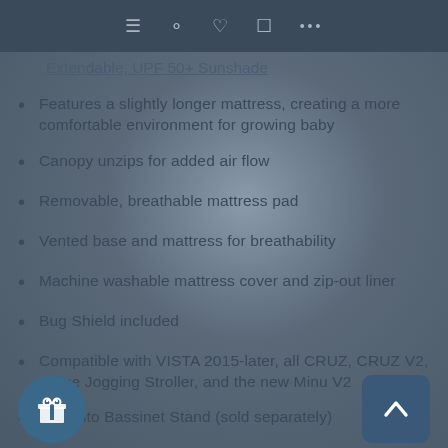≡ ○ ♡ ⬜ •••
Extendable, UPF 50+ Sunshade (partial, cut off)
Features a slightly longer mattress, creating a more comfortable environment for growing baby
Canopy unzips for added air flow
Removable, breathable mattress pad
Vented base and mattress for breathability
Machine washable mattress cover and zip-out liner
Bug Shield included
Compatible with VISTA 2015-later, all CRUZ, CRUZ V2, Ridge Jogging Stroller, and the new Minu V2
Fits onto Bassinet Stand (sold separately)